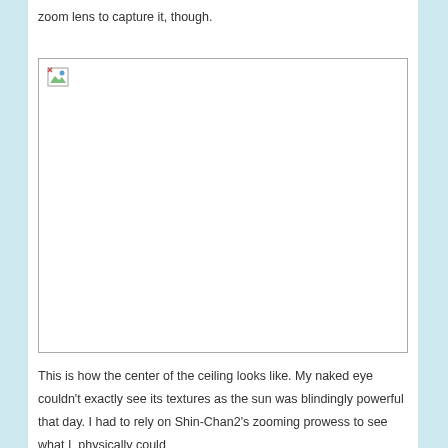zoom lens to capture it, though.
[Figure (photo): A broken/missing image placeholder with a small image icon in the top-left corner, shown as a white box with a thin border.]
This is how the center of the ceiling looks like. My naked eye couldn't exactly see its textures as the sun was blindingly powerful that day. I had to rely on Shin-Chan2's zooming prowess to see what I  physically could